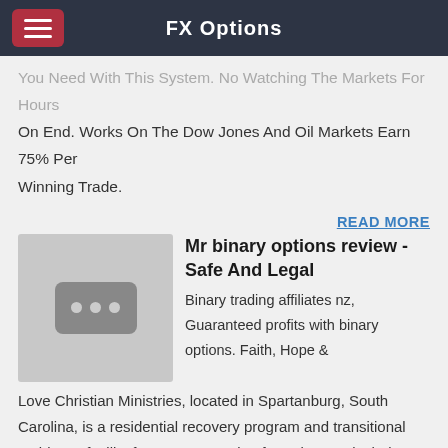FX Options
You Need With This System. No Watching The Markets For Hours On End. Works On The Dow Jones And Oil Markets Earn 75% Per Winning Trade.
READ MORE
[Figure (photo): Placeholder image thumbnail with three dots icon]
Mr binary options review - Safe And Legal
Binary trading affiliates nz, Guaranteed profits with binary options. Faith, Hope & Love Christian Ministries, located in Spartanburg, South Carolina, is a residential recovery program and transitional residency facility for men recovering from drug & alcohol addiction.
READ MORE
- Safe And Legal
Free Binary Option System – Binary Options Advice → Mr Binary